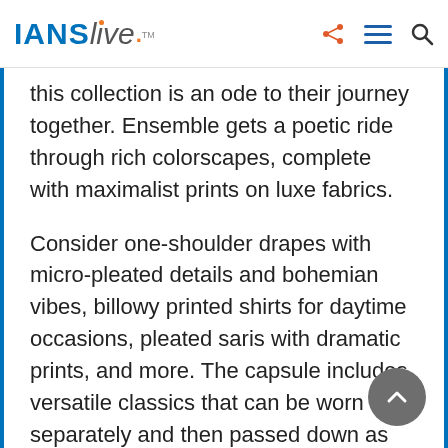IANS live
this collection is an ode to their journey together. Ensemble gets a poetic ride through rich colorscapes, complete with maximalist prints on luxe fabrics.
Consider one-shoulder drapes with micro-pleated details and bohemian vibes, billowy printed shirts for daytime occasions, pleated saris with dramatic prints, and more. The capsule includes versatile classics that can be worn separately and then passed down as heirlooms to the next generation.